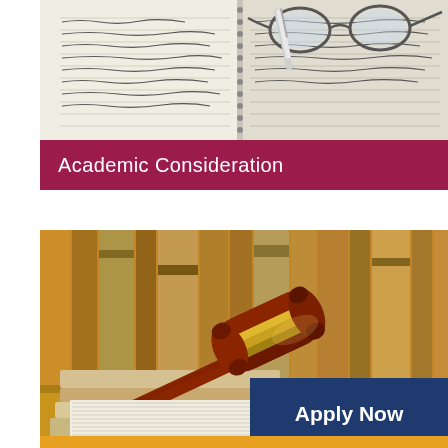[Figure (photo): Open notebook with handwritten notes, glasses resting on top, and a pen — study/academic themed image]
Academic Consideration
[Figure (photo): Judge's gavel resting on books with law library bookshelf in background — legal/academic consideration themed image]
Apply Now